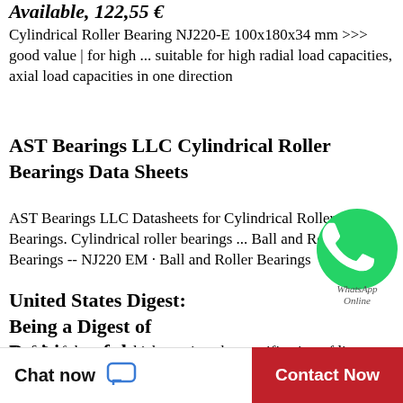Available, 122,55 €
Cylindrical Roller Bearing NJ220-E 100x180x34 mm >>> good value | for high ... suitable for high radial load capacities, axial load capacities in one direction
AST Bearings LLC Cylindrical Roller Bearings Data Sheets
AST Bearings LLC Datasheets for Cylindrical Roller Bearings. Cylindrical roller bearings ... Ball and Roller Bearings -- NJ220 EM · Ball and Roller Bearings
United States Digest: Being a Digest of Decisions of the
By § 3 of that act, which requires the specification of lien to be filed in the office of the clerk of " the county in which the debt shall ... Roche, 1 Vroom, (N. J.) 220
NJ220EM Cylindrical Roller Bearing | AST Bearings
EM cylindrical roller ball bearing drawings. Unless otherwise specified, the internal radial clearance
[Figure (logo): WhatsApp green circular icon with white phone handset, labeled 'WhatsApp Online']
[Figure (other): Three black dots loading indicator in a white box]
Chat now
Contact Now